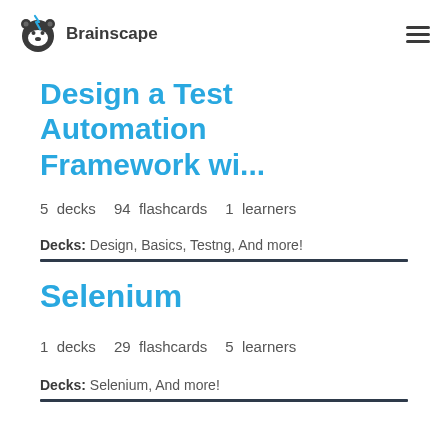Brainscape
Design a Test Automation Framework wi...
5 decks   94 flashcards   1 learners
Decks: Design, Basics, Testng, And more!
Selenium
1 decks   29 flashcards   5 learners
Decks: Selenium, And more!